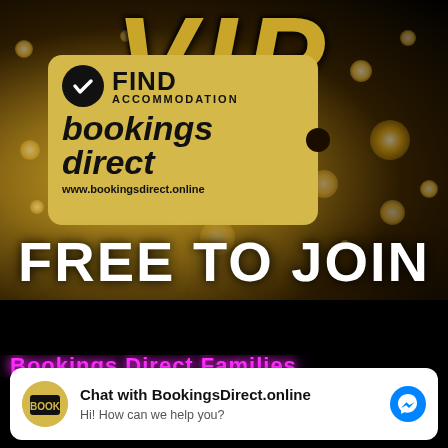[Figure (illustration): Dark gold glitter background with large VIP text at top, a gold ticket-shaped badge showing 'FIND ACCOMMODATION bookings direct www.bookingsdirect.online' with a black checkmark circle, and large white 'FREE TO JOIN' text at the bottom.]
Chat with BookingsDirect.online
Hi! How can we help you?